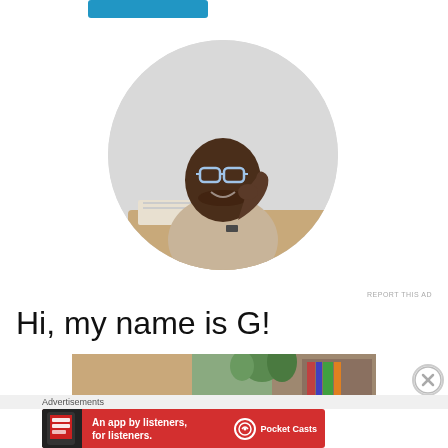[Figure (other): Blue button/banner at the top of the page]
[Figure (photo): Circular profile photo of a young Black man wearing glasses, smiling, seated at a desk with a laptop, wearing a beige t-shirt, hand resting on chin]
REPORT THIS AD
Hi, my name is G!
[Figure (photo): Partial image of an indoor scene with plants and furniture, serving as a content preview image]
[Figure (other): Close/dismiss button (X in circle) on the right side]
Advertisements
[Figure (other): Red advertisement banner for Pocket Casts app reading 'An app by listeners, for listeners.' with Pocket Casts logo]